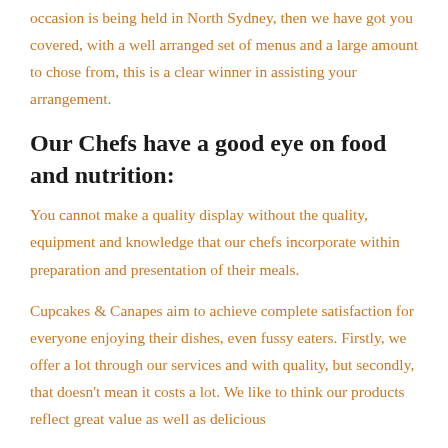occasion is being held in North Sydney, then we have got you covered, with a well arranged set of menus and a large amount to chose from, this is a clear winner in assisting your arrangement.
Our Chefs have a good eye on food and nutrition:
You cannot make a quality display without the quality, equipment and knowledge that our chefs incorporate within preparation and presentation of their meals.
Cupcakes & Canapes aim to achieve complete satisfaction for everyone enjoying their dishes, even fussy eaters. Firstly, we offer a lot through our services and with quality, but secondly, that doesn't mean it costs a lot. We like to think our products reflect great value as well as delicious